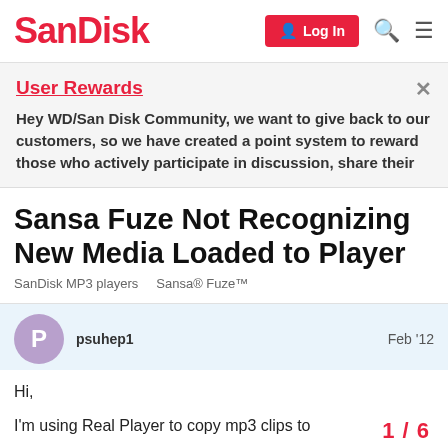SanDisk — Log In
User Rewards
Hey WD/San Disk Community, we want to give back to our customers, so we have created a point system to reward those who actively participate in discussion, share their
Sansa Fuze Not Recognizing New Media Loaded to Player
SanDisk MP3 players   Sansa® Fuze™
psuhep1   Feb '12
Hi,
I'm using Real Player to copy mp3 clips to
1 / 6